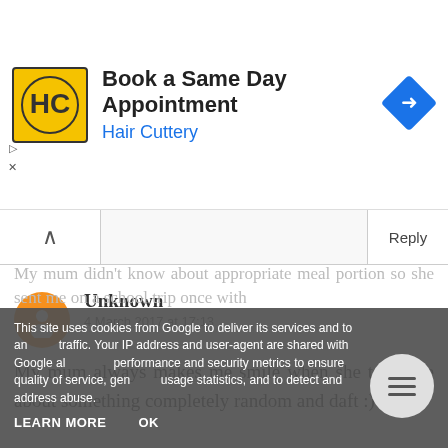[Figure (illustration): Hair Cuttery advertisement banner with logo and 'Book a Same Day Appointment' heading]
Book a Same Day Appointment
Hair Cuttery
Unknown
4 March 2017 at 17:13
My mum always makes me smile when she texts me about something completely random and daft :)
This site uses cookies from Google to deliver its services and to analyze traffic. Your IP address and user-agent are shared with Google along with performance and security metrics to ensure quality of service, generate usage statistics, and to detect and address abuse.
LEARN MORE    OK
My mum didn't know about appropriate meal portion so she sent me on a school trip once with